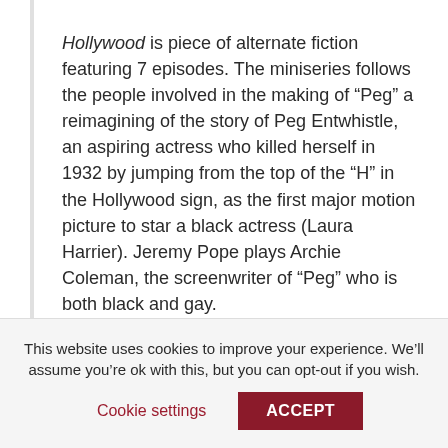Hollywood is piece of alternate fiction featuring 7 episodes. The miniseries follows the people involved in the making of “Peg” a reimagining of the story of Peg Entwhistle, an aspiring actress who killed herself in 1932 by jumping from the top of the “H” in the Hollywood sign, as the first major motion picture to star a black actress (Laura Harrier). Jeremy Pope plays Archie Coleman, the screenwriter of “Peg” who is both black and gay.
This website uses cookies to improve your experience. We’ll assume you’re ok with this, but you can opt-out if you wish.
Cookie settings
ACCEPT